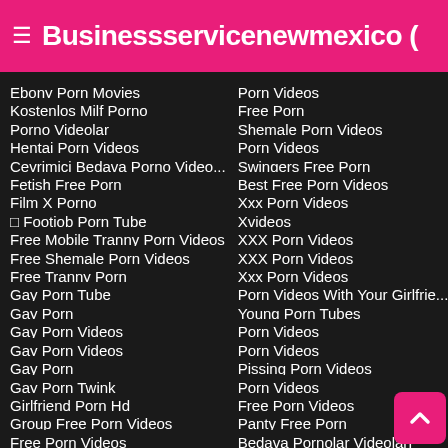≡ Businessservicenewmexico (
Ebony Porn Movies
Kostenlos Milf Porno
Porno Videolar
Hentai Porn Videos
Çevrimiçi Bedava Porno Video...
Fetish Free Porn
Film X Porno
□ Footjob Porn Tube
Free Mobile Tranny Porn Videos
Free Shemale Porn Videos
Free Tranny Porn
Gay Porn Tube
Gay Porn
Gay Porn Videos
Gay Porn Videos
Gay Porn
Gay Porn Twink
Girlfriend Porn Hd
Group Free Porn Videos
Free Porn Videos
Porn Videos
Free Porn
Shemale Porn Videos
Porn Videos
Swingers Free Porn
Best Free Porn Videos
Xxx Porn Videos
Xvideos
XXX Porn Videos
XXX Porn Videos
Xxx Porn Videos
Porn Videos With Your Girlfrie...
Young Porn Tubes
Porn Videos
Porn Videos
Pissing Porn Videos
Porn Videos
Free Porn Videos
Panty Free Porn
Bedava Pornolar Videolarİ